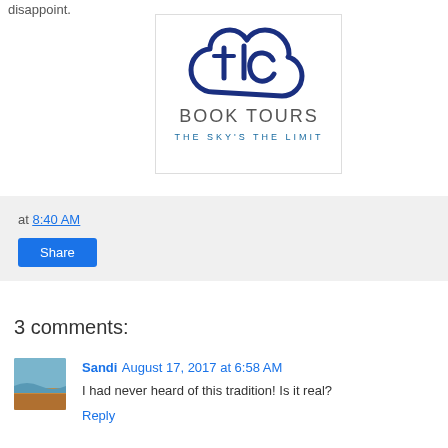at 8:40 AM
[Figure (logo): TLC Book Tours logo — cloud shape in navy blue with 'tlc' letters, text below reads 'BOOK TOURS' and 'THE SKY'S THE LIMIT']
at 8:40 AM
Share
3 comments:
Sandi August 17, 2017 at 6:58 AM
I had never heard of this tradition! Is it real?
Reply